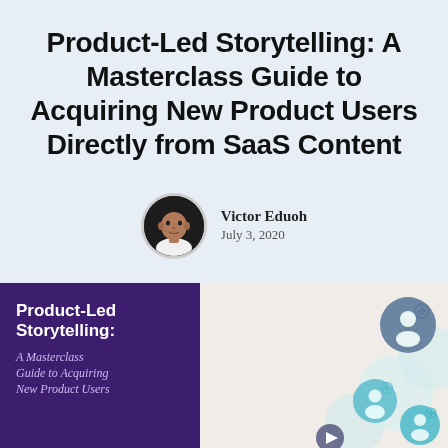Product-Led Storytelling: A Masterclass Guide to Acquiring New Product Users Directly from SaaS Content
Victor Eduoh
July 3, 2020
[Figure (illustration): Book cover with dark purple background showing 'Product-Led Storytelling: A Masterclass Guide to Acquiring New Product Users' text, alongside decorative user/people icons in teal and dark blue on a cream background]